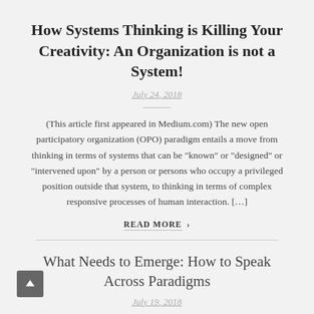How Systems Thinking is Killing Your Creativity: An Organization is not a System!
July 24, 2018
(This article first appeared in Medium.com) The new open participatory organization (OPO) paradigm entails a move from thinking in terms of systems that can be “known” or “designed” or “intervened upon” by a person or persons who occupy a privileged position outside that system, to thinking in terms of complex responsive processes of human interaction. […]
READ MORE ›
What Needs to Emerge: How to Speak Across Paradigms
July 19, 2018